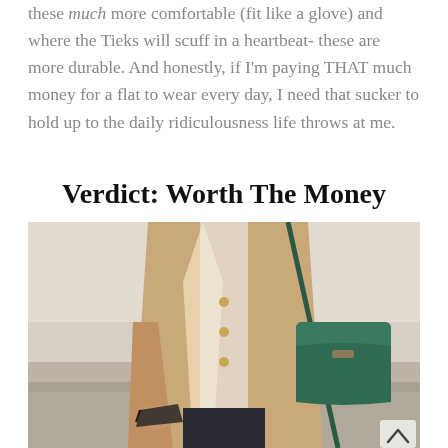these much more comfortable (fit like a glove) and where the Tieks will scuff in a heartbeat- these are more durable. And honestly, if I'm paying THAT much money for a flat to wear every day, I need that sucker to hold up to the daily ridiculousness life throws at me.
Verdict: Worth The Money
[Figure (photo): A person wearing a tan/camel coat with gold buttons, holding dark sunglasses, with a green structured crossbody leather bag on their shoulder. Outdoor setting with blurred background.]